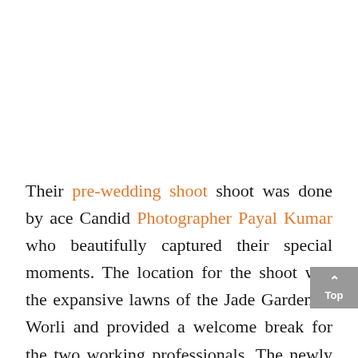Their pre-wedding shoot shoot was done by ace Candid Photographer Payal Kumar who beautifully captured their special moments. The location for the shoot was the expansive lawns of the Jade Garden in Worli and provided a welcome break for the two working professionals. The newly reopened luxurious property, spread over five spaces includes three indoor banquets, a spacious pre-function area and a beautiful open terrace venue which acted as a perfect setting